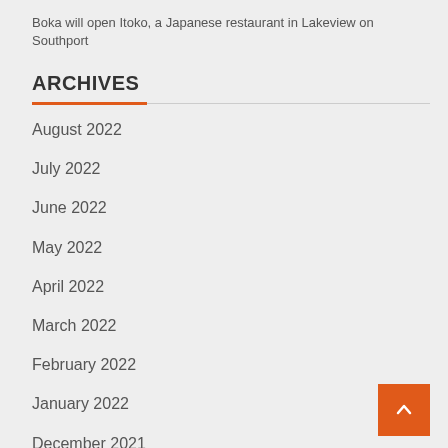Boka will open Itoko, a Japanese restaurant in Lakeview on Southport
ARCHIVES
August 2022
July 2022
June 2022
May 2022
April 2022
March 2022
February 2022
January 2022
December 2021